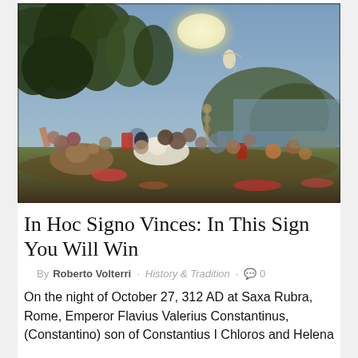[Figure (illustration): A large Renaissance-style painting depicting a dramatic battle scene. Soldiers on horseback and foot are fighting chaotically in the foreground amid a wooded landscape. In the sky there is a glowing apparition (a vision of light and a cross) with angelic figures. In the background, a coastline and city are visible. The scene is dark and intense with vivid red accents from fallen soldiers.]
In Hoc Signo Vinces: In This Sign You Will Win
By Roberto Volterri · History & Tradition · 0
On the night of October 27, 312 AD at Saxa Rubra, Rome, Emperor Flavius Valerius Constantinus, (Constantino) son of Constantius I Chloros and Helena